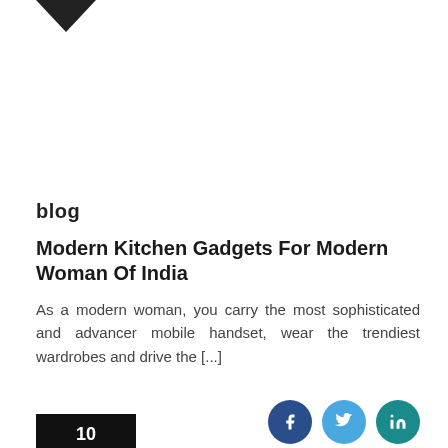[Figure (logo): Downward pointing black arrow/chevron logo at top left]
blog
Modern Kitchen Gadgets For Modern Woman Of India
As a modern woman, you carry the most sophisticated and advancer mobile handset, wear the trendiest wardrobes and drive the [...]
[Figure (illustration): Three social media icon circles: dark blue (Facebook), light blue (Twitter), teal (another platform)]
[Figure (other): Black rectangle badge at bottom left, partially visible, with white number text]